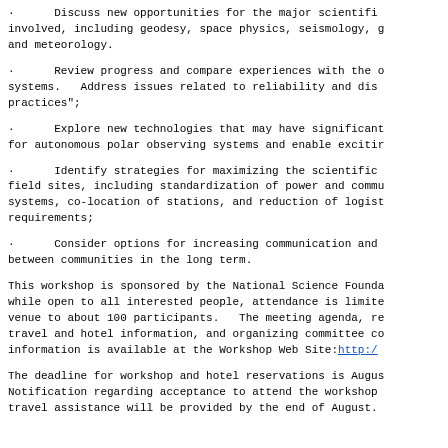· Discuss new opportunities for the major scientific involved, including geodesy, space physics, seismology, g and meteorology.
· Review progress and compare experiences with the c systems. Address issues related to reliability and dis practices";
· Explore new technologies that may have significant for autonomous polar observing systems and enable excitir
· Identify strategies for maximizing the scientific field sites, including standardization of power and commu systems, co-location of stations, and reduction of logist requirements;
· Consider options for increasing communication and between communities in the long term.
This workshop is sponsored by the National Science Founda while open to all interested people, attendance is limite venue to about 100 participants. The meeting agenda, re travel and hotel information, and organizing committee co information is available at the Workshop Web Site: http://.
The deadline for workshop and hotel reservations is Augus Notification regarding acceptance to attend the workshop travel assistance will be provided by the end of August.